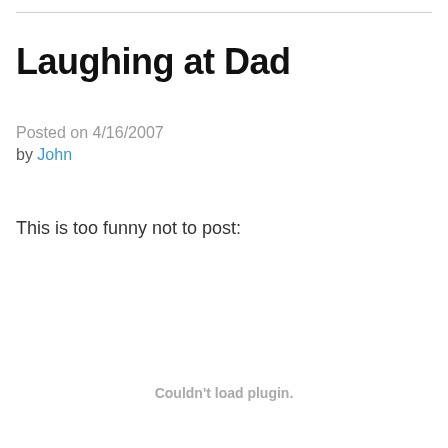Laughing at Dad
Posted on 4/16/2007
by John
This is too funny not to post:
Couldn't load plugin.